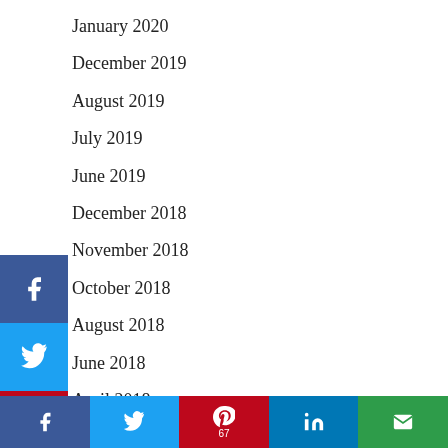January 2020
December 2019
August 2019
July 2019
June 2019
December 2018
November 2018
October 2018
August 2018
June 2018
April 2018